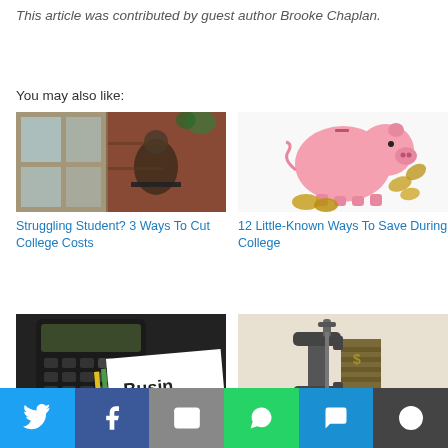This article was contributed by guest author Brooke Chaplan.
You may also like:
[Figure (photo): Person studying at a cafe window with laptop]
Struggling Student? 3 Ways To Cut College Costs
[Figure (photo): Pink piggy bank with coins]
12 Little-Known Ways To Save During College
[Figure (photo): Calculator and business paperwork]
[Figure (photo): Money held in a clamp]